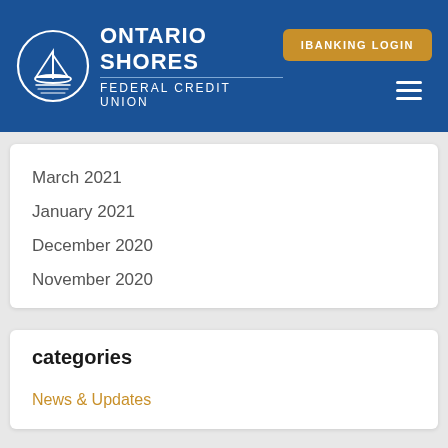[Figure (logo): Ontario Shores Federal Credit Union logo with sailboat in circle and IBANKING LOGIN button and hamburger menu on navy blue header]
March 2021
January 2021
December 2020
November 2020
categories
News & Updates